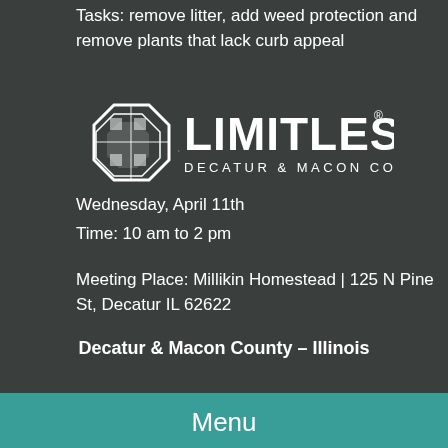Tasks: remove litter, add weed protection and remove plants that lack curb appeal
[Figure (logo): Limitless Decatur & Macon County logo with octagonal emblem and bold text LIMITLESS above DECATUR & MACON COUNTY]
Wednesday, April 11th
Time: 10 am to 2 pm
Meeting Place: Millikin Homestead | 125 N Pine St, Decatur IL 62622
Decatur & Macon County – Illinois
Menu
Please dress appropriately for the weather and bring garden gloves and landscaping tools if possible. Safety vests and lunch will be provided.
For more information, please click here.
This site uses cookies. By continuing to use this website, you agree to their use. Read our Privacy Policy.
Posted in News